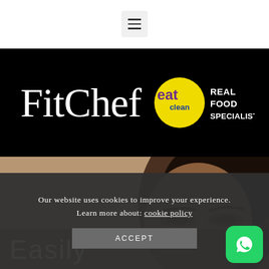[Figure (screenshot): Hamburger menu icon (three horizontal lines) on white navigation bar]
[Figure (logo): FitChef eat clean REAL FOOD SPECIALISTS logo on black background]
[Figure (photo): Close-up photo of a woman's face against a sandy wall background, with partial text 'Easily' visible at bottom left]
Our website uses cookies to improve your experience. Learn more about: cookie policy
ACCEPT